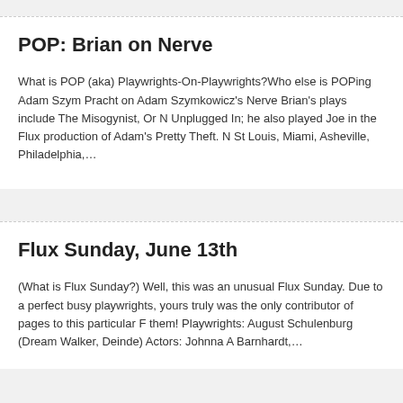POP: Brian on Nerve
What is POP (aka) Playwrights-On-Playwrights?Who else is POPing Adam Szym... Pracht on Adam Szymkowicz's Nerve Brian's plays include The Misogynist, Or N... Unplugged In; he also played Joe in the Flux production of Adam's Pretty Theft. N... St Louis, Miami, Asheville, Philadelphia,…
Flux Sunday, June 13th
(What is Flux Sunday?) Well, this was an unusual Flux Sunday. Due to a perfect... busy playwrights, yours truly was the only contributor of pages to this particular F... them! Playwrights: August Schulenburg (Dream Walker, Deinde) Actors: Johnna A... Barnhardt,…